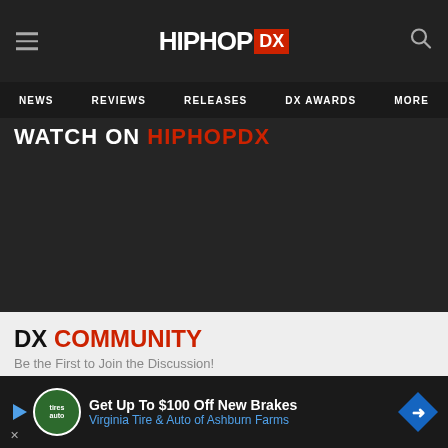HIPHOP DX
NEWS   REVIEWS   RELEASES   DX AWARDS   MORE
WATCH ON HIPHOPDX
DX COMMUNITY
Be the First to Join the Discussion!
Join the discussion
[Figure (screenshot): Advertisement banner: Get Up To $100 Off New Brakes - Virginia Tire & Auto of Ashburn Farms]